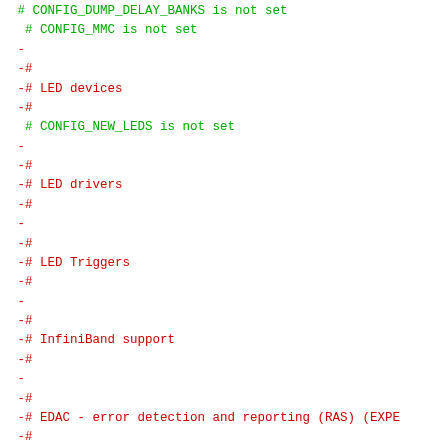# CONFIG_DUMP_DELAY_BANKS is not set
 # CONFIG_MMC is not set
 -
 -#
 -# LED devices
 -#
  # CONFIG_NEW_LEDS is not set
 -
 -#
 -# LED drivers
 -#
 -
 -#
 -# LED Triggers
 -#
 -
 -#
 -# InfiniBand support
 -#
 -
 -#
 -# EDAC - error detection and reporting (RAS) (EXPE
 -#
 -
 -#
 -# Real Time Clock
 -#